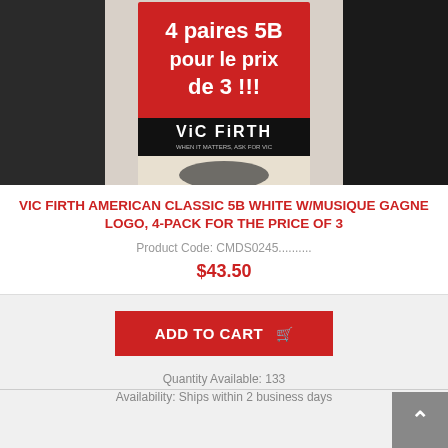[Figure (photo): Product photo of Vic Firth American Classic 5B drumstick 4-pack bundle with red promotional label reading '4 paires 5B pour le prix de 3!!!' and Vic Firth logo]
VIC FIRTH AMERICAN CLASSIC 5B WHITE W/MUSIQUE GAGNE LOGO, 4-PACK FOR THE PRICE OF 3
Product Code: CMDS0245..........
$43.50
ADD TO CART
Quantity Available: 133
Availability: Ships within 2 business days